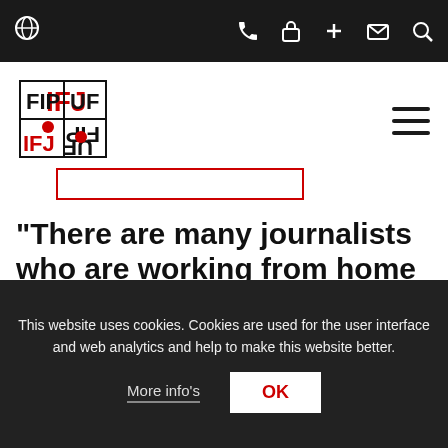IFJ navigation bar with globe, phone, lock, plus, mail, search icons
[Figure (logo): IFJ FIP UF logo — black and red text stacked logo]
"There are many journalists who are working from home with great uncertainty"
[Figure (photo): Partial photo of a person with dark hair, cropped at top of frame]
This website uses cookies. Cookies are used for the user interface and web analytics and help to make this website better.
More info's  OK